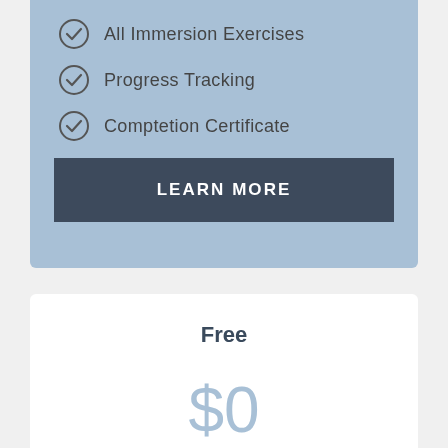All Immersion Exercises
Progress Tracking
Comptetion Certificate
LEARN MORE
Free
$0